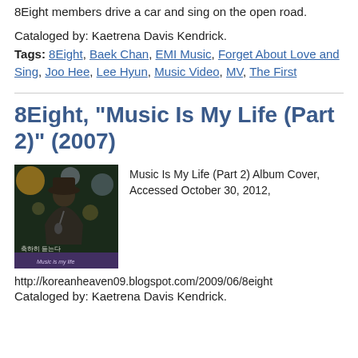8Eight members drive a car and sing on the open road.
Cataloged by: Kaetrena Davis Kendrick.
Tags: 8Eight, Baek Chan, EMI Music, Forget About Love and Sing, Joo Hee, Lee Hyun, Music Video, MV, The First
8Eight, “Music Is My Life (Part 2)” (2007)
[Figure (photo): Album cover for Music Is My Life (Part 2) by 8Eight, showing a person singing into a microphone on a dark stage with Korean text and the text 'Music Is My Life']
Music Is My Life (Part 2) Album Cover, Accessed October 30, 2012,
http://koreanheaven09.blogspot.com/2009/06/8eight
Cataloged by: Kaetrena Davis Kendrick.